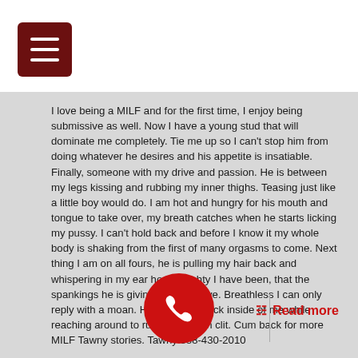[Figure (other): Dark red hamburger menu button icon in top left corner]
I love being a MILF and for the first time, I enjoy being submissive as well. Now I have a young stud that will dominate me completely. Tie me up so I can't stop him from doing whatever he desires and his appetite is insatiable. Finally, someone with my drive and passion. He is between my legs kissing and rubbing my inner thighs. Teasing just like a little boy would do. I am hot and hungry for his mouth and tongue to take over, my breath catches when he starts licking my pussy. I can't hold back and before I know it my whole body is shaking from the first of many orgasms to come. Next thing I am on all fours, he is pulling my hair back and whispering in my ear how naughty I have been, that the spankings he is giving me I deserve. Breathless I can only reply with a moan. He slides his cock inside of me while reaching around to rub my swollen clit. Cum back for more MILF Tawny stories. Tawny 888-430-2010
[Figure (other): Red circular phone call button with white telephone handset icon]
Read more